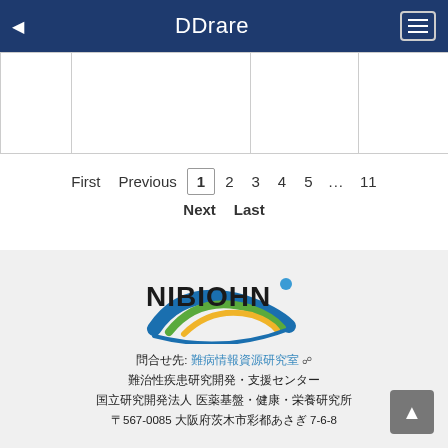DDrare
|  |
First  Previous  1  2  3  4  5  ...  11
Next  Last
[Figure (logo): NIBIOHN logo with colorful swirl graphic]
問合せ先: 難病情報資源研究室
難治性疾患研究開発・支援センター
国立研究開発法人 医薬基盤・健康・栄養研究所
〒567-0085 大阪府茨木市彩都あさぎ 7-6-8